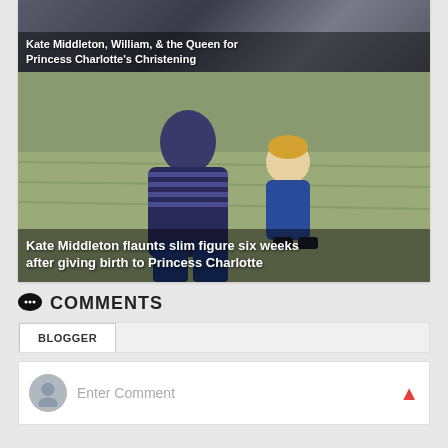[Figure (photo): Partially visible photo with white overlay text showing a headline about Kate Middleton, William, and the Queen for Princess Charlotte's Christening]
Princess Charlotte's Christening
[Figure (photo): Photo of Kate Middleton in blue and white striped top with Prince George in blue cardigan sitting on grass]
Kate Middleton flaunts slim figure six weeks after giving birth to Princess Charlotte
COMMENTS
BLOGGER
Enter Comment